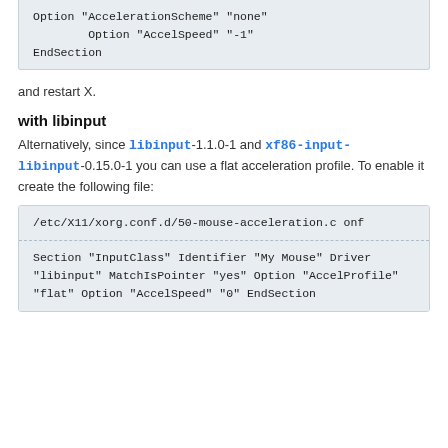Option "AccelerationScheme" "none"
        Option "AccelSpeed" "-1"
EndSection
and restart X.
with libinput
Alternatively, since libinput-1.1.0-1 and xf86-input-libinput-0.15.0-1 you can use a flat acceleration profile. To enable it create the following file:
/etc/X11/xorg.conf.d/50-mouse-acceleration.conf
Section "InputClass"
        Identifier "My Mouse"
        Driver "libinput"
        MatchIsPointer "yes"
        Option "AccelProfile" "flat"
        Option "AccelSpeed" "0"
EndSection